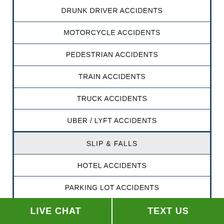DRUNK DRIVER ACCIDENTS
MOTORCYCLE ACCIDENTS
PEDESTRIAN ACCIDENTS
TRAIN ACCIDENTS
TRUCK ACCIDENTS
UBER / LYFT ACCIDENTS
SLIP & FALLS
HOTEL ACCIDENTS
PARKING LOT ACCIDENTS
LIVE CHAT   TEXT US